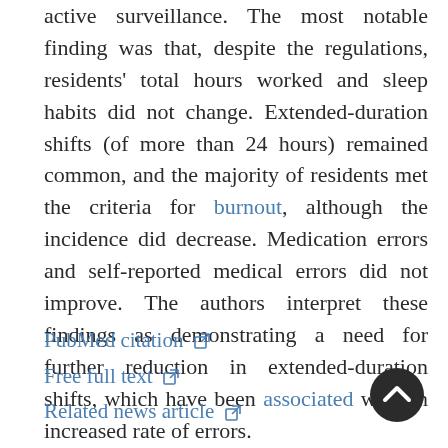active surveillance. The most notable finding was that, despite the regulations, residents' total hours worked and sleep habits did not change. Extended-duration shifts (of more than 24 hours) remained common, and the majority of residents met the criteria for burnout, although the incidence did decrease. Medication errors and self-reported medical errors did not improve. The authors interpret these findings as demonstrating a need for further reduction in extended-duration shifts, which have been associated with an increased rate of errors.
PubMed citation [external link]
Free full text [external link]
Related news article [external link]